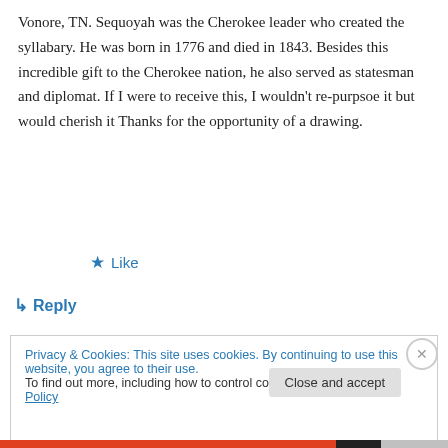Vonore, TN. Sequoyah was the Cherokee leader who created the syllabary. He was born in 1776 and died in 1843. Besides this incredible gift to the Cherokee nation, he also served as statesman and diplomat. If I were to receive this, I wouldn't re-purpsoe it but would cherish it Thanks for the opportunity of a drawing.
★ Like
↪ Reply
Privacy & Cookies: This site uses cookies. By continuing to use this website, you agree to their use.
To find out more, including how to control cookies, see here: Cookie Policy
Close and accept